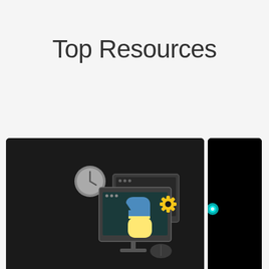Top Resources
[Figure (illustration): Dark background card thumbnail showing Python IDE windows with a gear icon and Python logo snake graphic]
Python Tutorial: Working with CSV file for Data Science
[Figure (illustration): Black background card thumbnail partially visible with a small teal/cyan glowing circle element]
Boo CO